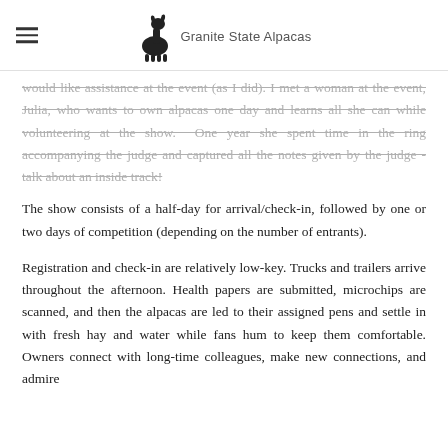Granite State Alpacas
would like assistance at the event (as I did). I met a woman at the event, Julia, who wants to own alpacas one day and learns all she can while volunteering at the show. One year she spent time in the ring accompanying the judge and captured all the notes given by the judge - talk about an inside track!
The show consists of a half-day for arrival/check-in, followed by one or two days of competition (depending on the number of entrants).
Registration and check-in are relatively low-key. Trucks and trailers arrive throughout the afternoon. Health papers are submitted, microchips are scanned, and then the alpacas are led to their assigned pens and settle in with fresh hay and water while fans hum to keep them comfortable. Owners connect with long-time colleagues, make new connections, and admire